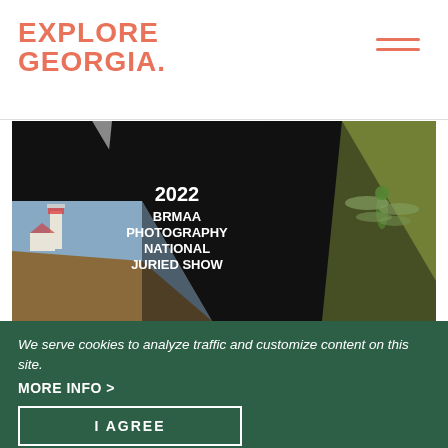EXPLORE GEORGIA.
[Figure (photo): 2022 BRMAA Photography National Juried Show promotional image with geometric shutter-shaped collage of a lighthouse, dragonfly, and wood texture on dark background]
We serve cookies to analyze traffic and customize content on this site.
MORE INFO >
I AGREE